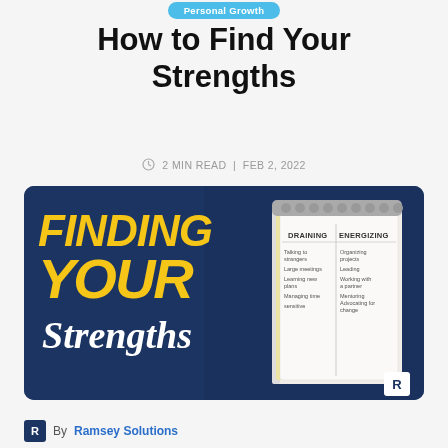Personal Growth
How to Find Your Strengths
2 MIN READ | FEB 2, 2022
[Figure (illustration): Dark blue promotional graphic with bold yellow text reading FINDING YOUR in italic uppercase and script white text 'Strengths', alongside a spiral-bound notebook open to a two-column page labeled DRAINING and ENERGIZING with handwritten-style list items. A Ramsey R logo appears in the bottom right corner.]
By Ramsey Solutions